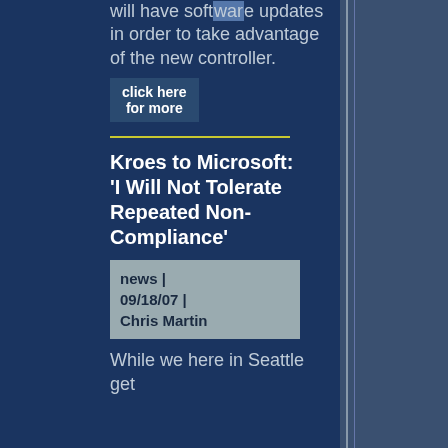will have software updates in order to take advantage of the new controller.
click here for more
Kroes to Microsoft: 'I Will Not Tolerate Repeated Non-Compliance'
news | 09/18/07 | Chris Martin
While we here in Seattle get